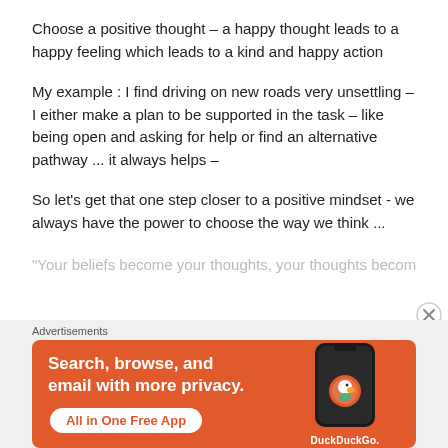Choose a positive thought – a happy thought leads to a happy feeling which leads to a kind and happy action
My example : I find driving on new roads very unsettling – I either make a plan to be supported in the task – like being open and asking for help or find an alternative pathway ... it always helps –
So let's get that one step closer to a positive mindset - we always have the power to choose the way we think ...
"Your beliefs become your thoughts, your thoughts become...
Advertisements
[Figure (infographic): DuckDuckGo advertisement banner with orange background. Text reads 'Search, browse, and email with more privacy. All in One Free App' with phone mockup showing DuckDuckGo logo.]